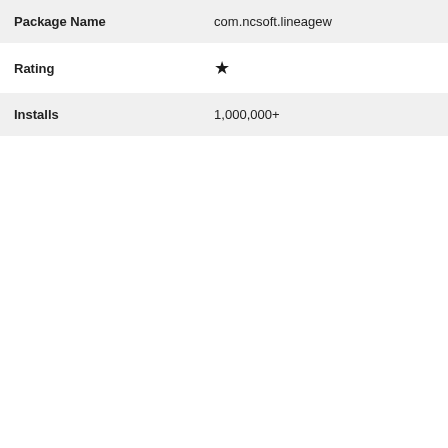| Field | Value |
| --- | --- |
| Package Name | com.ncsoft.lineagew |
| Rating | ★ |
| Installs | 1,000,000+ |